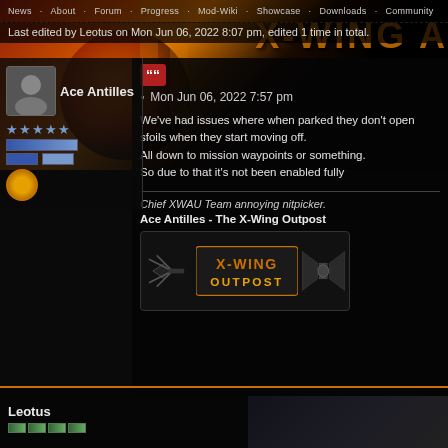News · About · Forum · Progress · Mod-Wiki · Showcase · Downloads · Community
Last edited by Leotus on Mon Jun 06, 2022 8:07 pm, edited 1 time in total.
Ace Antilles
Mon Jun 06, 2022 7:57 pm
We've had issues where when parked they don't open sfoils when they start moving off.
All down to mission waypoints or something.
So due to that it's not been enabled fully
Chief XWAU Team annoying nitpicker.
Ace Antilles - The X-Wing Outpost
[Figure (logo): X-Wing Outpost logo with X-wing and TIE fighter silhouettes]
Leotus